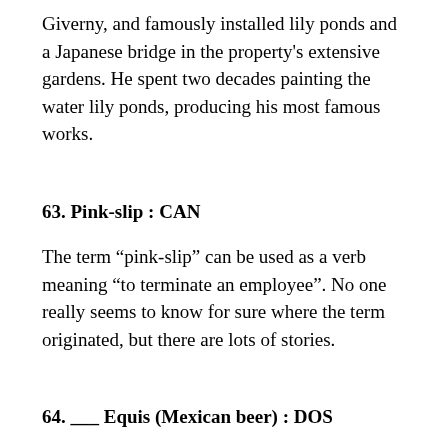Giverny, and famously installed lily ponds and a Japanese bridge in the property's extensive gardens. He spent two decades painting the water lily ponds, producing his most famous works.
63. Pink-slip : CAN
The term “pink-slip” can be used as a verb meaning “to terminate an employee”. No one really seems to know for sure where the term originated, but there are lots of stories.
64. ___ Equis (Mexican beer) : DOS
Dos Equis lager was originally brewed in 1897, and back then was called “Siglo XX” (20th century) to celebrate the arrival of the new century. The name was changed later to simply “Dos Equis” (two x’s).